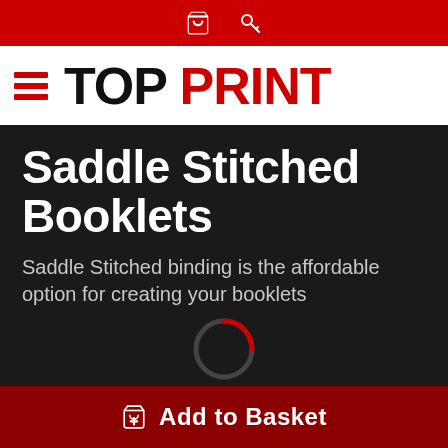Top Print website header with basket and key icons
[Figure (logo): TOP PRINT logo with hamburger menu icon on white background]
Saddle Stitched Booklets
Saddle Stitched binding is the affordable option for creating your booklets
£
Add to Basket